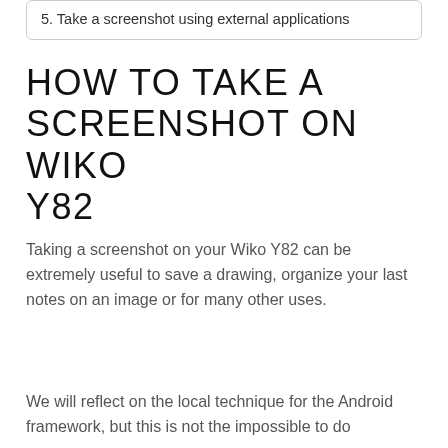5. Take a screenshot using external applications
HOW TO TAKE A SCREENSHOT ON WIKO Y82
Taking a screenshot on your Wiko Y82 can be extremely useful to save a drawing, organize your last notes on an image or for many other uses.
We will reflect on the local technique for the Android framework, but this is not the impossible to do